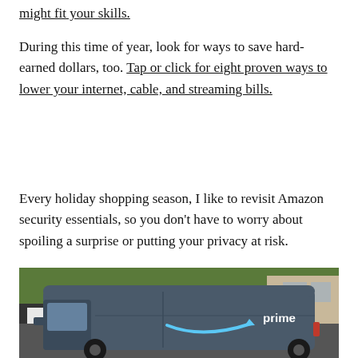might fit your skills.
During this time of year, look for ways to save hard-earned dollars, too. Tap or click for eight proven ways to lower your internet, cable, and streaming bills.
Every holiday shopping season, I like to revisit Amazon security essentials, so you don't have to worry about spoiling a surprise or putting your privacy at risk.
[Figure (photo): An Amazon Prime delivery van parked on a street with trees and a building in the background. The van is dark blue/grey with the Amazon smile arrow logo and the word 'prime' in white text on the side.]